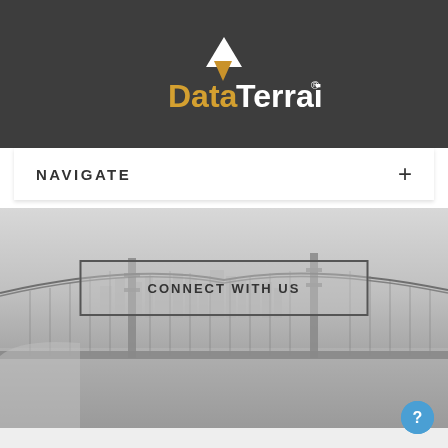[Figure (logo): DataTerrain logo with white triangle up, gold triangle down, and DataTerrain text in dark/gold on dark background]
NAVIGATE +
[Figure (photo): Grayscale photograph of Golden Gate Bridge with city skyline in background and water below]
CONNECT WITH US
[Figure (logo): DataTerrain logo with black triangle up, gold triangle down, and DataTerrain text in gold/dark on light gray background]
[Figure (other): Small blue circular help button with question mark icon]